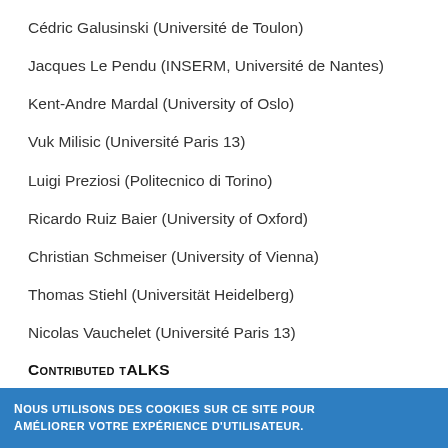Cédric Galusinski (Université de Toulon)
Jacques Le Pendu (INSERM, Université de Nantes)
Kent-Andre Mardal (University of Oslo)
Vuk Milisic (Université Paris 13)
Luigi Preziosi (Politecnico di Torino)
Ricardo Ruiz Baier (University of Oxford)
Christian Schmeiser (University of Vienna)
Thomas Stiehl (Universität Heidelberg)
Nicolas Vauchelet (Université Paris 13)
Contributed talks
Monika Twarogowska (ENS Lyon)
Nous utilisons des cookies sur ce site pour améliorer votre expérience d'utilisateur.